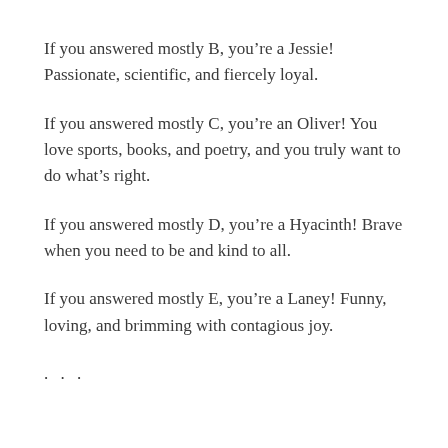If you answered mostly B, you’re a Jessie! Passionate, scientific, and fiercely loyal.
If you answered mostly C, you’re an Oliver! You love sports, books, and poetry, and you truly want to do what’s right.
If you answered mostly D, you’re a Hyacinth! Brave when you need to be and kind to all.
If you answered mostly E, you’re a Laney! Funny, loving, and brimming with contagious joy.
. . .